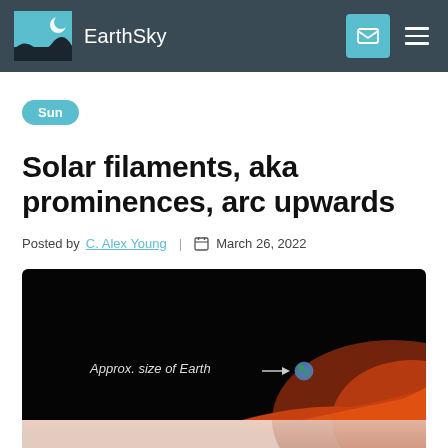EarthSky
Sun
Solar filaments, aka prominences, arc upwards
Posted by C. Alex Young | March 26, 2022
[Figure (photo): Solar prominence image showing the approx. size of Earth compared to the sun, with text 'Approx. size of Earth →' and a small Earth icon. The image shows a dark background with glowing red/orange solar surface in the lower right corner.]